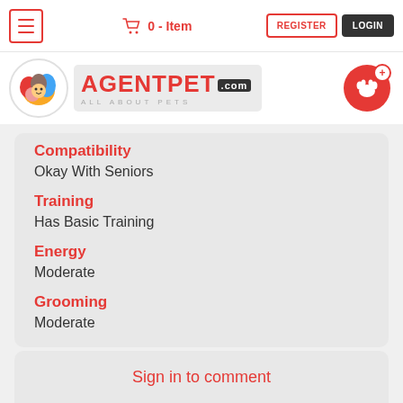AgentPet.com - All About Pets navigation header with hamburger menu, 0-Item cart, Register and Login buttons
[Figure (logo): AgentPet.com logo with colorful pet circle icon and text ALL ABOUT PETS, plus red paw button with plus sign]
Compatibility
Okay With Seniors
Training
Has Basic Training
Energy
Moderate
Grooming
Moderate
Sign in to comment